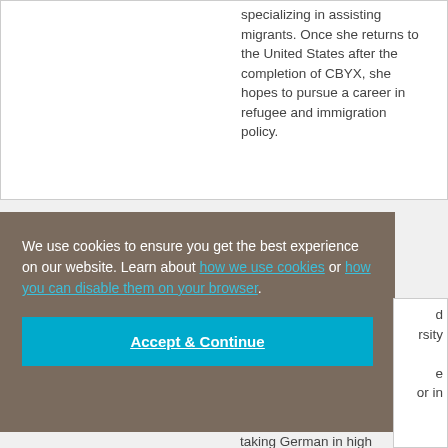specializing in assisting migrants. Once she returns to the United States after the completion of CBYX, she hopes to pursue a career in refugee and immigration policy.
We use cookies to ensure you get the best experience on our website. Learn about how we use cookies or how you can disable them on your browser.
Accept & Continue
d rsity e or in taking German in high